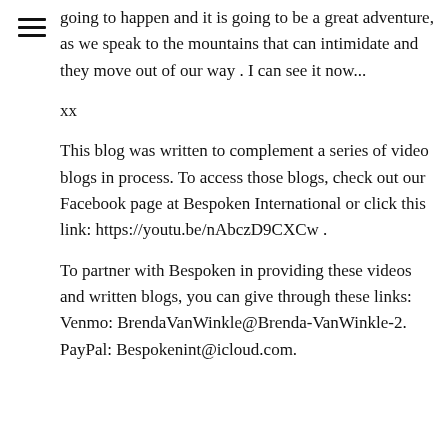going to happen and it is going to be a great adventure, as we speak to the mountains that can intimidate and they move out of our way . I can see it now...
xx
This blog was written to complement a series of video blogs in process. To access those blogs, check out our Facebook page at Bespoken International or click this link: https://youtu.be/nAbczD9CXCw .
To partner with Bespoken in providing these videos and written blogs, you can give through these links: Venmo: BrendaVanWinkle@Brenda-VanWinkle-2. PayPal: Bespokenint@icloud.com.